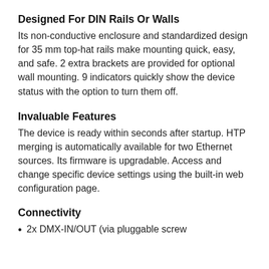Designed For DIN Rails Or Walls
Its non-conductive enclosure and standardized design for 35 mm top-hat rails make mounting quick, easy, and safe. 2 extra brackets are provided for optional wall mounting. 9 indicators quickly show the device status with the option to turn them off.
Invaluable Features
The device is ready within seconds after startup. HTP merging is automatically available for two Ethernet sources. Its firmware is upgradable. Access and change specific device settings using the built-in web configuration page.
Connectivity
2x DMX-IN/OUT (via pluggable screw